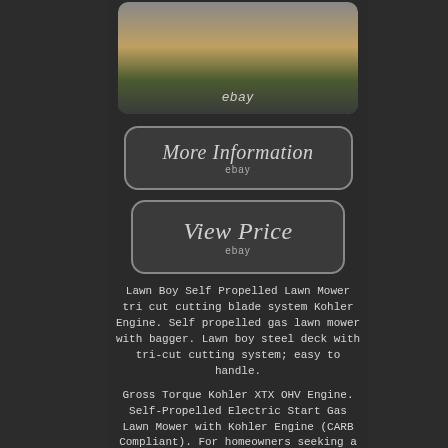[Figure (photo): Photo of a Lawn Boy Self Propelled Lawn Mower with bagger, shown partially at the top of the listing image.]
[Figure (other): eBay 'More Information' button with italic serif text and ebay label]
[Figure (other): eBay 'View Price' button with italic serif text and ebay label]
Lawn Boy Self Propelled Lawn Mower tri cut cutting blade system Kohler Engine. Self propelled gas lawn mower with bagger. Lawn boy steel deck with tri-cut cutting system; easy to handle.
Gross Torque Kohler XTX OHV Engine. Self-Propelled Electric Start Gas Lawn Mower with Kohler Engine (CARB Compliant). For homeowners seeking a